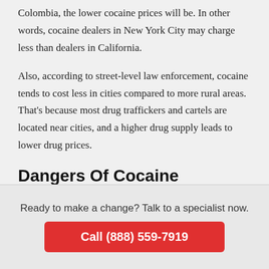Colombia, the lower cocaine prices will be. In other words, cocaine dealers in New York City may charge less than dealers in California.
Also, according to street-level law enforcement, cocaine tends to cost less in cities compared to more rural areas. That’s because most drug traffickers and cartels are located near cities, and a higher drug supply leads to lower drug prices.
Dangers Of Cocaine
Ready to make a change? Talk to a specialist now.
Call (888) 559-7919